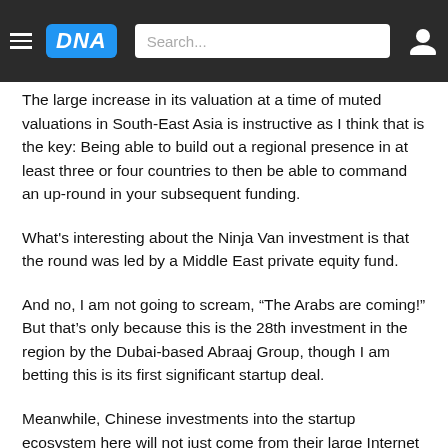DNA | Search...
The large increase in its valuation at a time of muted valuations in South-East Asia is instructive as I think that is the key: Being able to build out a regional presence in at least three or four countries to then be able to command an up-round in your subsequent funding.
What's interesting about the Ninja Van investment is that the round was led by a Middle East private equity fund.
And no, I am not going to scream, “The Arabs are coming!” But that’s only because this is the 28th investment in the region by the Dubai-based Abraaj Group, though I am betting this is its first significant startup deal.
Meanwhile, Chinese investments into the startup ecosystem here will not just come from their large Internet companies, but also entrepreneurs who have cashed out